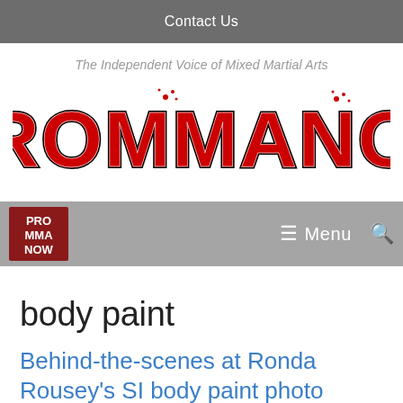Contact Us
The Independent Voice of Mixed Martial Arts
[Figure (logo): Pro MMA Now logo — bold red and black stylized text reading PROMMANOV with a fist graphic]
[Figure (logo): Small Pro MMA Now logo in navigation bar]
Menu
body paint
Behind-the-scenes at Ronda Rousey's SI body paint photo